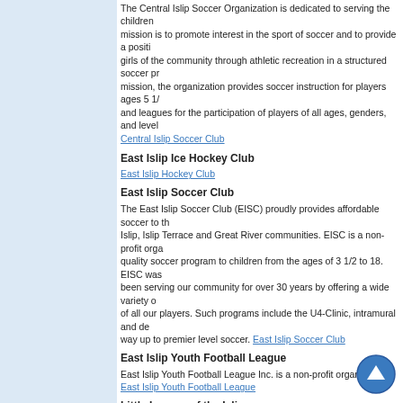The Central Islip Soccer Organization is dedicated to serving the children... mission is to promote interest in the sport of soccer and to provide a positive... girls of the community through athletic recreation in a structured soccer pr... mission, the organization provides soccer instruction for players ages 5 1/... and leagues for the participation of players of all ages, genders, and level...
Central Islip Soccer Club
East Islip Ice Hockey Club
East Islip Hockey Club
East Islip Soccer Club
The East Islip Soccer Club (EISC) proudly provides affordable soccer to th... Islip, Islip Terrace and Great River communities. EISC is a non-profit orga... quality soccer program to children from the ages of 3 1/2 to 18. EISC was... been serving our community for over 30 years by offering a wide variety o... of all our players. Such programs include the U4-Clinic, intramural and de... way up to premier level soccer. East Islip Soccer Club
East Islip Youth Football League
East Islip Youth Football League Inc. is a non-profit organization.
East Islip Youth Football League
Little League of the Islips
Little League of the Islips
St. Mary's CYO Basketball League of East Islip
The mission and direction of the St. Mary's CYO Basketball League is to j... the spirit of athletics and competition under the auspices of the Catholic C...
Basketball League of East Islip